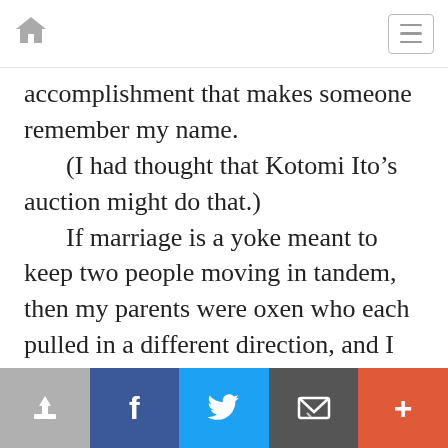Navigation bar with home icon and menu icon
accomplishment that makes someone remember my name.
	(I had thought that Kotomi Ito’s auction might do that.)
	If marriage is a yoke meant to keep two people moving in tandem, then my parents were oxen who each pulled in a different direction, and I was caught squarely in the middle. I never understood how you could march down an aisle with someone and not realize that you want totally different futures.
Share / Facebook / Twitter / Email / More